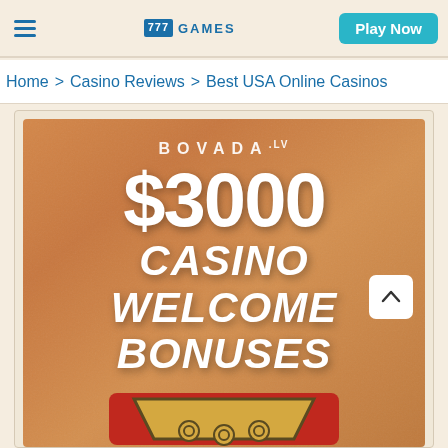777 GAMES | Play Now
Home > Casino Reviews > Best USA Online Casinos
[Figure (screenshot): Bovada casino advertisement banner showing '$3000 CASINO WELCOME BONUSES' with a red JOIN NOW button on a golden-orange textured background]